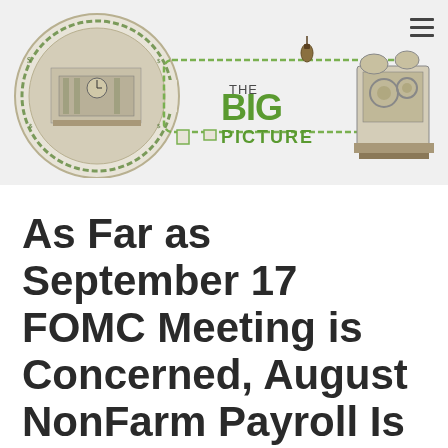[Figure (logo): The Big Picture logo — a key-shaped illustration with a circular head containing an engraving-style architectural scene and decorative border with dollar-bill iconography, connected to a rectangular blade containing the text 'THE BIG PICTURE' in green, and a mechanical money-printing machine graphic on the right. A hamburger/menu icon appears at top right.]
As Far as September 17 FOMC Meeting is Concerned, August NonFarm Payroll Is A Non-Issue